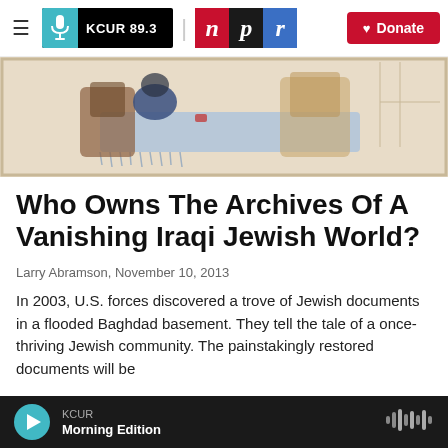KCUR 89.3 | npr | Donate
[Figure (illustration): Partial view of a painting showing a figure seated at a table with chairs, rendered in muted earth tones, watercolor style]
Who Owns The Archives Of A Vanishing Iraqi Jewish World?
Larry Abramson, November 10, 2013
In 2003, U.S. forces discovered a trove of Jewish documents in a flooded Baghdad basement. They tell the tale of a once-thriving Jewish community. The painstakingly restored documents will be
KCUR Morning Edition